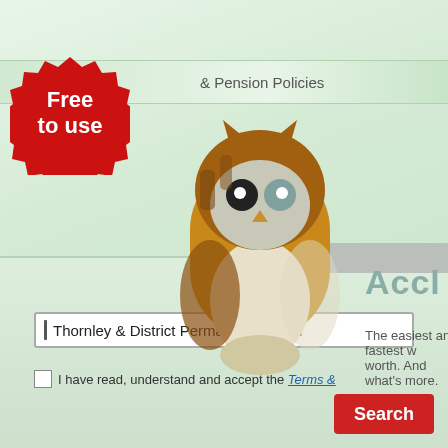& Pension Policies
[Figure (illustration): Red badge/seal with white text 'Free to use']
[Figure (illustration): Pixelated owl illustration (brown, white and blue tones)]
[Figure (logo): Partly visible text logo reading 'Acclaim' in teal/gray stylized letters]
The easiest and fastest w worth. And what's more.
Thornley & District Permanent Building
I have read, understand and accept the Terms &
Search